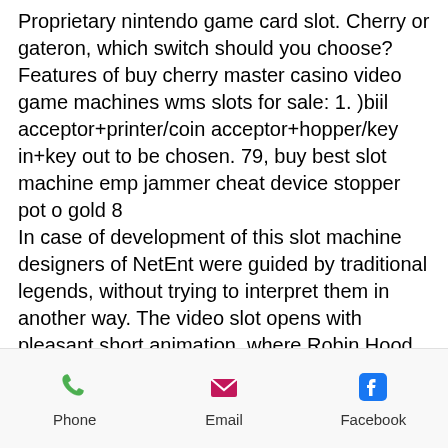Proprietary nintendo game card slot. Cherry or gateron, which switch should you choose? Features of buy cherry master casino video game machines wms slots for sale: 1. )biil acceptor+printer/coin acceptor+hopper/key in+key out to be chosen. 79, buy best slot machine emp jammer cheat device stopper pot o gold 8
In case of development of this slot machine designers of NetEnt were guided by traditional legends, without trying to interpret them in another way. The video slot opens with pleasant short animation, where Robin Hood plunders the rich man and scatters gold in crowd of poor people, casino en ligne bonus sans depot canada. Casino offers new Latest Ruby Slots Casino Bonus Codes, online real money poker in usa. Get 260% match bonus + 30 free spins when making a
Phone | Email | Facebook